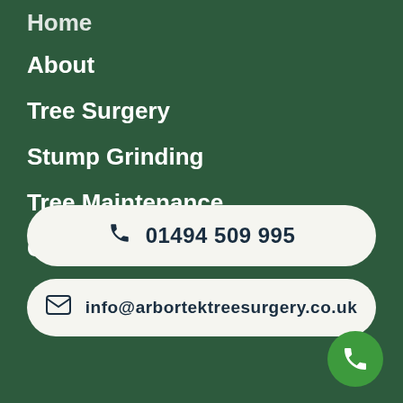Home
About
Tree Surgery
Stump Grinding
Tree Maintenance
Contact Us
01494 509 995
info@arbortektreesurgery.co.uk